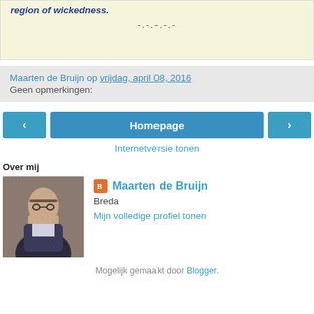region of wickedness.
-.-.-.-.-
Maarten de Bruijn op vrijdag, april 08, 2016
Geen opmerkingen:
‹   Homepage   ›
Internetversie tonen
Over mij
[Figure (photo): Portrait photo of an elderly man with glasses.]
Maarten de Bruijn
Breda
Mijn volledige profiel tonen
Mogelijk gemaakt door Blogger.